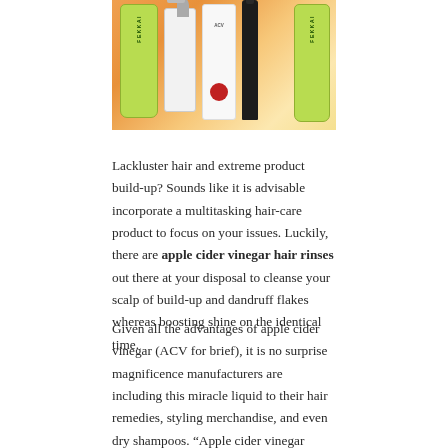[Figure (photo): A colorful flat-lay photo of various hair care product bottles including green FEKKAI bottles, a white spray bottle, ACV rinse, and a dark dropper bottle against an orange background]
Lackluster hair and extreme product build-up? Sounds like it is advisable incorporate a multitasking hair-care product to focus on your issues. Luckily, there are apple cider vinegar hair rinses out there at your disposal to cleanse your scalp of build-up and dandruff flakes whereas boosting shine on the identical time.
Given all the advantages of apple cider vinegar (ACV for brief), it is no surprise magnificence manufacturers are including this miracle liquid to their hair remedies, styling merchandise, and even dry shampoos. “Apple cider vinegar contains amino acids and pectin that contribute to strengthening and conditioning your hair,” beauty chemist Ni’Kita Wilson says. “Malic and acetic acids help the hair cuticle contract, increasing its shine and reducing frizz.”